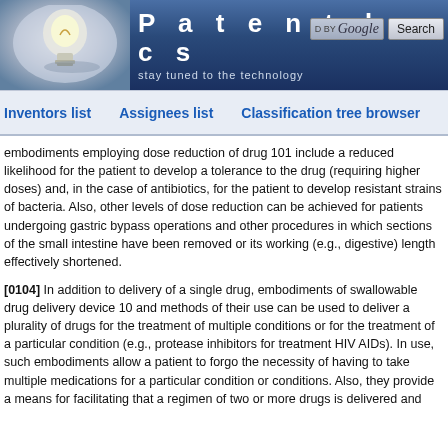[Figure (logo): Patentdocs website header with lightbulb logo, site name 'Patentdocs', tagline 'stay tuned to the technology', and Google search box with Search button]
Inventors list   Assignees list   Classification tree browser
embodiments employing dose reduction of drug 101 include a reduced likelihood for the patient to develop a tolerance to the drug (requiring higher doses) and, in the case of antibiotics, for the patient to develop resistant strains of bacteria. Also, other levels of dose reduction can be achieved for patients undergoing gastric bypass operations and other procedures in which sections of the small intestine have been removed or its working (e.g., digestive) length effectively shortened.
[0104] In addition to delivery of a single drug, embodiments of swallowable drug delivery device 10 and methods of their use can be used to deliver a plurality of drugs for the treatment of multiple conditions or for the treatment of a particular condition (e.g., protease inhibitors for treatment HIV AIDs). In use, such embodiments allow a patient to forgo the necessity of having to take multiple medications for a particular condition or conditions. Also, they provide a means for facilitating that a regimen of two or more drugs is delivered and